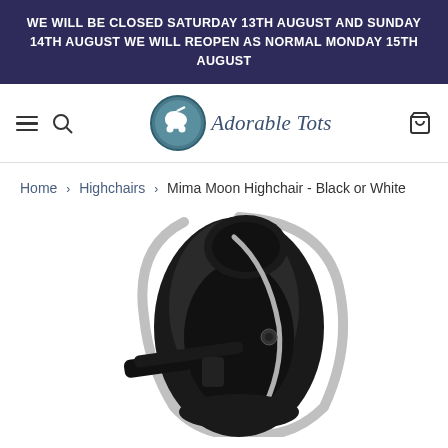WE WILL BE CLOSED SATURDAY 13TH AUGUST AND SUNDAY 14TH AUGUST WE WILL REOPEN AS NORMAL MONDAY 15TH AUGUST
[Figure (logo): Adorable Tots logo with pram icon in teal circle and italic script text]
Home › Highchairs › Mima Moon Highchair - Black or White
[Figure (photo): Mima Moon Highchair in black color, showing the seat, chrome frame, and tray attachment against a white background]